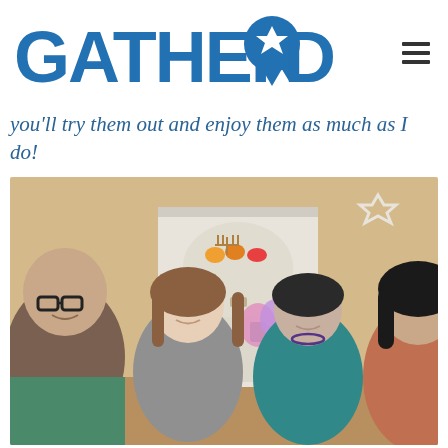[Figure (logo): GatherDC logo with map pin icon containing Star of David, blue text]
you'll try them out and enjoy them as much as I do!
[Figure (photo): Four people smiling at a gathering, a white cabinet with menorah and fruit in the background, pink and purple balloons, Star of David decoration on the wall]